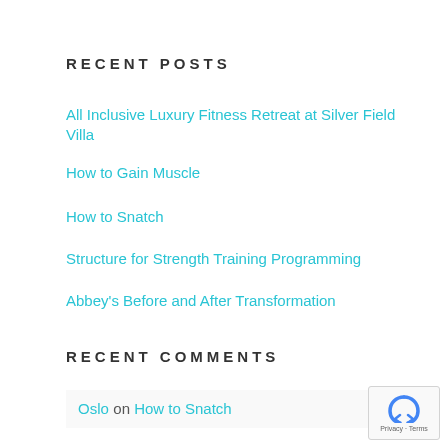RECENT POSTS
All Inclusive Luxury Fitness Retreat at Silver Field Villa
How to Gain Muscle
How to Snatch
Structure for Strength Training Programming
Abbey's Before and After Transformation
RECENT COMMENTS
Oslo on How to Snatch